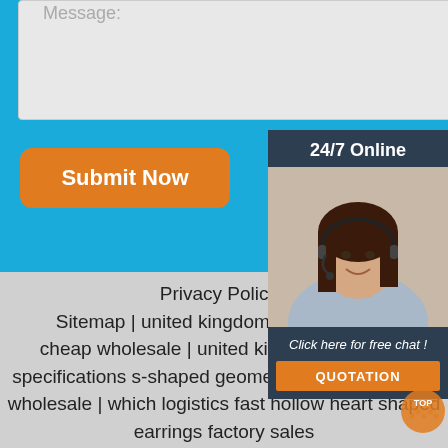Message:
[Figure (screenshot): Submit Now button - orange rounded rectangle with white text]
[Figure (photo): 24/7 Online customer service panel with photo of woman wearing headset, 'Click here for free chat!' text, and orange QUOTATION button]
Privacy Policy | Sitemap | united kingdom worry-free h p cheap wholesale | united kingdom complete specifications s-shaped geometric earrings market wholesale | which logistics fast hollow heart shaped earrings factory sales